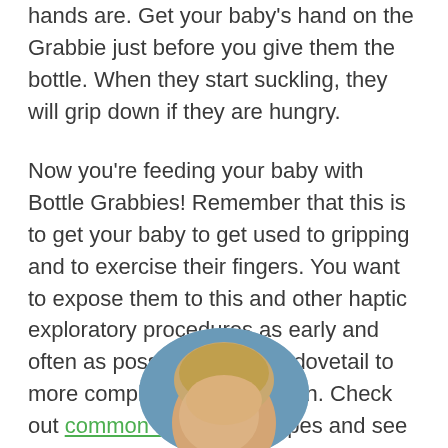hands are. Get your baby's hand on the Grabbie just before you give them the bottle. When they start suckling, they will grip down if they are hungry.
Now you're feeding your baby with Bottle Grabbies! Remember that this is to get your baby to get used to gripping and to exercise their fingers. You want to expose them to this and other haptic exploratory procedures as early and often as possible, as it can dovetail to more complex grips earlier on. Check out common baby grasp types and see what your baby can currently do.
[Figure (photo): A circular cropped photo of a baby, partially visible at the bottom of the page, showing the top of the baby's head with light hair.]